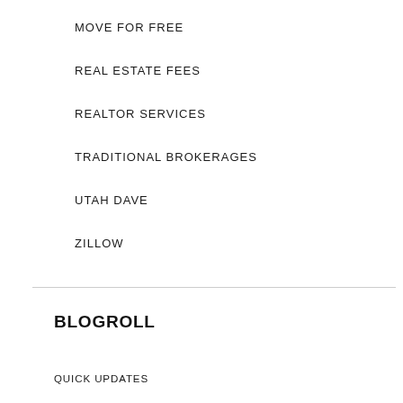MOVE FOR FREE
REAL ESTATE FEES
REALTOR SERVICES
TRADITIONAL BROKERAGES
UTAH DAVE
ZILLOW
BLOGROLL
QUICK UPDATES